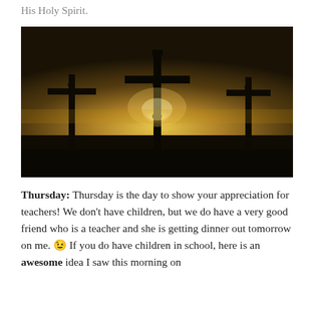His Holy Spirit.
[Figure (photo): Silhouette of three crosses against a glowing sunset sky, with the central cross featuring the figure of Christ on the crucifixion, backlit by a bright light source on the horizon.]
Thursday: Thursday is the day to show your appreciation for teachers! We don't have children, but we do have a very good friend who is a teacher and she is getting dinner out tomorrow on me. 😉 If you do have children in school, here is an awesome idea I saw this morning on